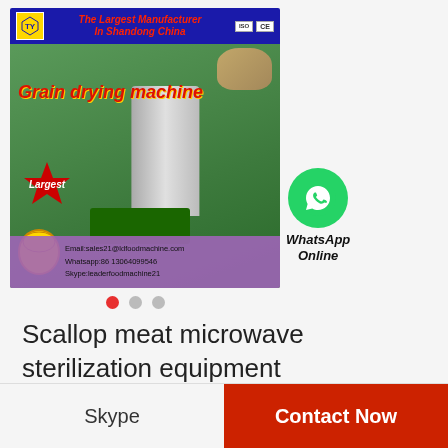[Figure (photo): Grain drying machine advertisement banner showing a large metal silo/dryer in an outdoor setting. Banner includes company logo, 'The Largest Manufacturer In Shandong China' tagline, ISO and CE certifications, 'Grain drying machine' text overlay, 'Largest' starburst badge, fist graphic, contact details (Email: sales21@ldfoodmachine.com, Whatsapp: 86 13064099546, Skype: leaderfoodmachine21), and a WhatsApp Online button with green WhatsApp icon.]
[Figure (other): Carousel navigation dots: three dots, first (leftmost) filled red, other two grey.]
Scallop meat microwave sterilization equipment
Skype
Contact Now